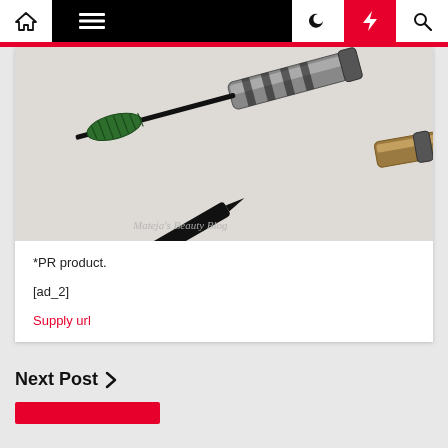Navigation bar with home, menu, moon, lightning, search icons
[Figure (photo): PUPA Vamp! mascara and eyeliner pen laid on a white surface. The mascara wand with green bristles is visible, and a black pen-style eyeliner is open beside the tube. Watermark reads Mateja's Beauty Blog.]
*PR product.
[ad_2]
Supply url
Next Post >